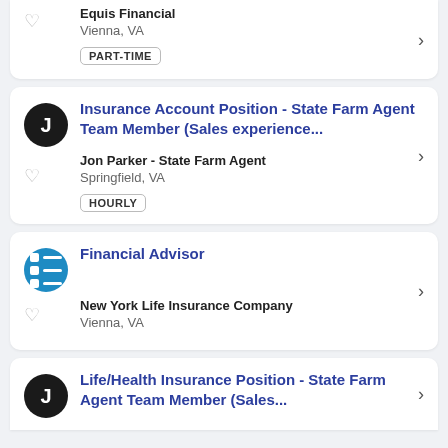Equis Financial | Vienna, VA | PART-TIME
Insurance Account Position - State Farm Agent Team Member (Sales experience... | Jon Parker - State Farm Agent | Springfield, VA | HOURLY
Financial Advisor | New York Life Insurance Company | Vienna, VA
Life/Health Insurance Position - State Farm Agent Team Member (Sales...